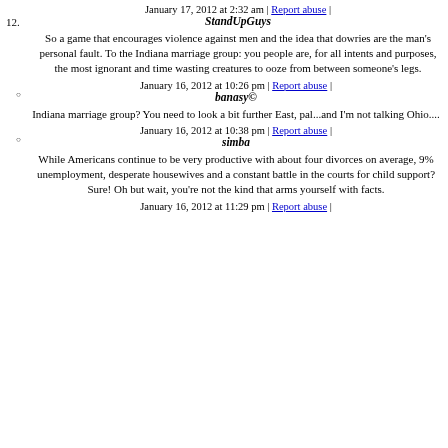January 17, 2012 at 2:32 am | Report abuse |
12. StandUpGuys
So a game that encourages violence against men and the idea that dowries are the man's personal fault. To the Indiana marriage group: you people are, for all intents and purposes, the most ignorant and time wasting creatures to ooze from between someone's legs.
January 16, 2012 at 10:26 pm | Report abuse |
banasy©
Indiana marriage group? You need to look a bit further East, pal...and I'm not talking Ohio....
January 16, 2012 at 10:38 pm | Report abuse |
simba
While Americans continue to be very productive with about four divorces on average, 9% unemployment, desperate housewives and a constant battle in the courts for child support? Sure! Oh but wait, you're not the kind that arms yourself with facts.
January 16, 2012 at 11:29 pm | Report abuse |